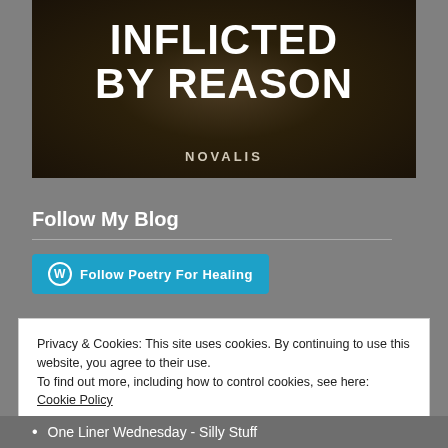[Figure (illustration): Book cover with dark brown background showing title INFLICTED BY REASON in large white bold text and author name NOVALIS in small caps below]
Follow My Blog
[Figure (other): WordPress Follow Poetry For Healing button in teal/blue color]
Privacy & Cookies: This site uses cookies. By continuing to use this website, you agree to their use. To find out more, including how to control cookies, see here: Cookie Policy
Close and accept
One Liner Wednesday - Silly Stuff